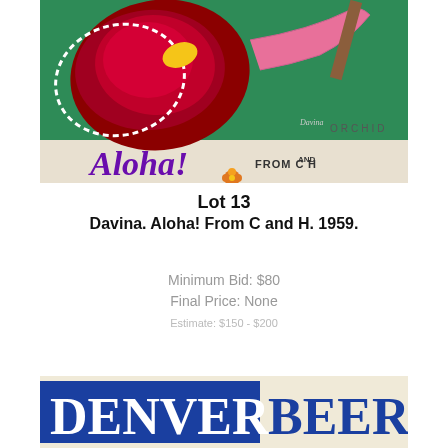[Figure (illustration): Vintage advertising poster for C and H Sugar showing a dark red orchid flower against a green background with 'Aloha! From C and H' text and 'ORCHID' label. Artist signature 'Davina' visible.]
Lot 13
Davina. Aloha! From C and H. 1959.
Minimum Bid: $80
Final Price: None
Estimate: $150 - $200
[Figure (illustration): Partial view of a vintage Denver Beer advertisement with bold blue and white lettering showing 'DENVER BEER' text.]